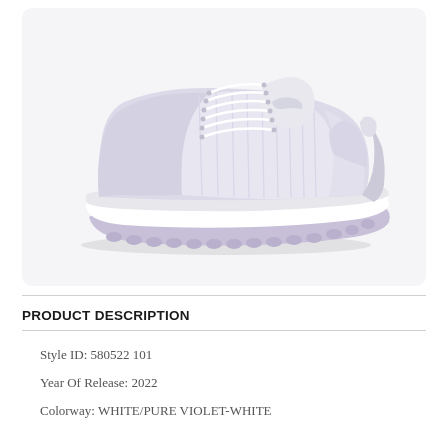[Figure (photo): Air Jordan 11 Retro Low sneaker in white/pure violet-white colorway, shown from the side on a light gray background. The shoe features a predominantly white and light lavender-gray upper with white patent leather-style panels, white laces, white midsole, and a translucent light purple outsole.]
PRODUCT DESCRIPTION
Style ID: 580522 101
Year Of Release: 2022
Colorway: WHITE/PURE VIOLET-WHITE